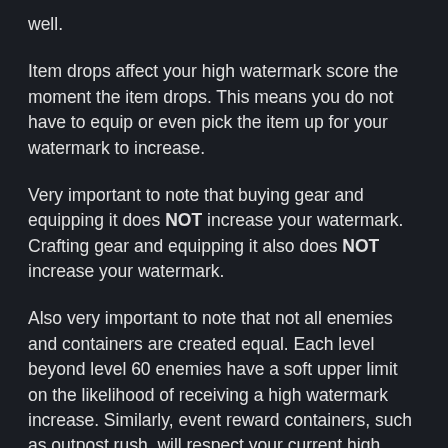well.
Item drops affect your high watermark score the moment the item drops. This means you do not have to equip or even pick the item up for your watermark to increase.
Very important to note that buying gear and equipping it does NOT increase your watermark. Crafting gear and equipping it also does NOT increase your watermark.
Also very important to note that not all enemies and containers are created equal. Each level beyond level 60 enemies have a soft upper limit on the likelihood of receiving a high watermark increase. Similarly, event reward containers, such as outpost rush, will respect your current high watermark and will also have a small chance of increasing it.